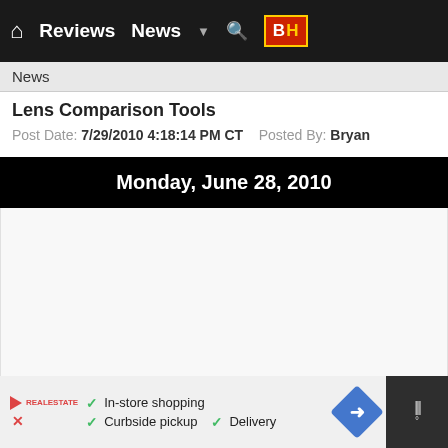Home | Reviews | News | Search | B&H
News
Lens Comparison Tools
Post Date: 7/29/2010 4:18:14 PM CT   Posted By: Bryan
Monday, June 28, 2010
[Figure (screenshot): Empty white content area below date banner]
In-store shopping | Curbside pickup | Delivery